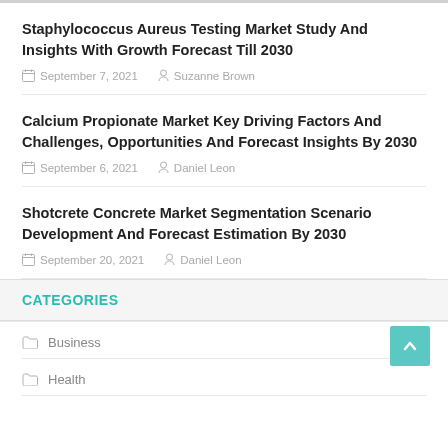Staphylococcus Aureus Testing Market Study And Insights With Growth Forecast Till 2030
September 7, 2021   Suzanne Brown
Calcium Propionate Market Key Driving Factors And Challenges, Opportunities And Forecast Insights By 2030
September 6, 2021   Daniel Leon
Shotcrete Concrete Market Segmentation Scenario Development And Forecast Estimation By 2030
September 20, 2021   Daniel Leon
CATEGORIES
Business
Health